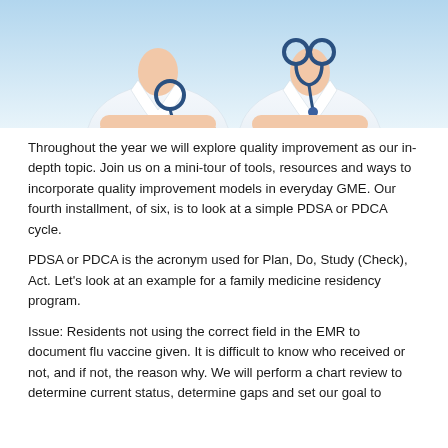[Figure (photo): Photo of medical professionals in white lab coats with stethoscopes, arms crossed, cropped at torso level]
Throughout the year we will explore quality improvement as our in-depth topic.  Join us on a mini-tour of tools, resources and ways to incorporate quality improvement models in everyday GME.  Our fourth installment, of six, is to look at a simple PDSA or PDCA cycle.
PDSA or PDCA is the acronym used for Plan, Do, Study (Check), Act.  Let’s look at an example for a family medicine residency program.
Issue:  Residents not using the correct field in the EMR to document flu vaccine given.  It is difficult to know who received or not, and if not, the reason why. We will perform a chart review to determine current status, determine gaps and set our goal to